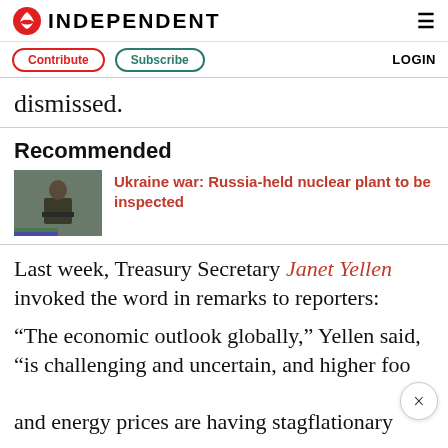INDEPENDENT
dismissed.
Recommended
[Figure (photo): Person standing at podium with microphone, Ukrainian flag visible in background]
Ukraine war: Russia-held nuclear plant to be inspected
Last week, Treasury Secretary Janet Yellen invoked the word in remarks to reporters:
“The economic outlook globally,” Yellen said, “is challenging and uncertain, and higher foo and energy prices are having stagflationary